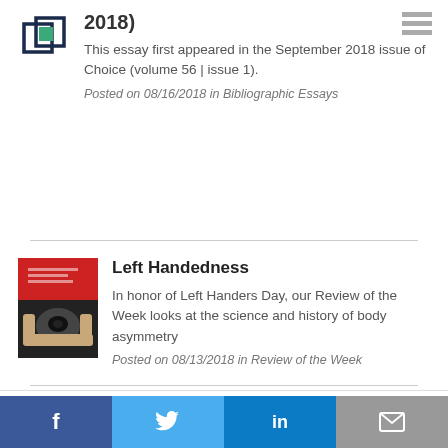[Figure (logo): Overlapping square logo icon in dark blue and teal/green]
2018)
This essay first appeared in the September 2018 issue of Choice (volume 56 | issue 1).
Posted on 08/16/2018 in Bibliographic Essays
[Figure (photo): Book cover with red and black design showing a person holding up a frame in front of their face]
Left Handedness
In honor of Left Handers Day, our Review of the Week looks at the science and history of body asymmetry
Posted on 08/13/2018 in Review of the Week
COOKIES –
By using our site you agree to our use of cookies to deliver a better site experience.